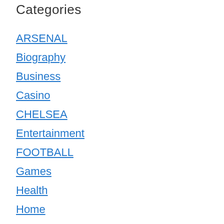Categories
ARSENAL
Biography
Business
Casino
CHELSEA
Entertainment
FOOTBALL
Games
Health
Home
INFO-GRAPHICS
LEICESTER CITY